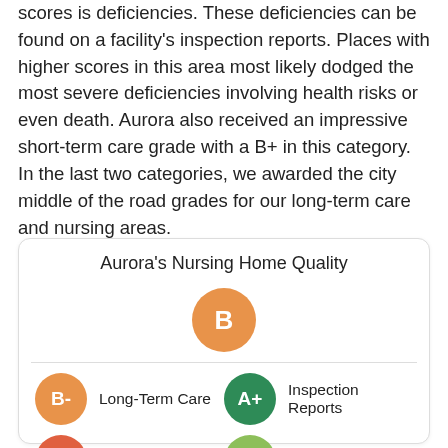scores is deficiencies. These deficiencies can be found on a facility's inspection reports. Places with higher scores in this area most likely dodged the most severe deficiencies involving health risks or even death. Aurora also received an impressive short-term care grade with a B+ in this category. In the last two categories, we awarded the city middle of the road grades for our long-term care and nursing areas.
[Figure (infographic): Circular grade badges showing Aurora's Nursing Home Quality overall grade B, with sub-grades: Long-Term Care B-, Inspection Reports A+, Nurse Quality C, Short-Term Care B+]